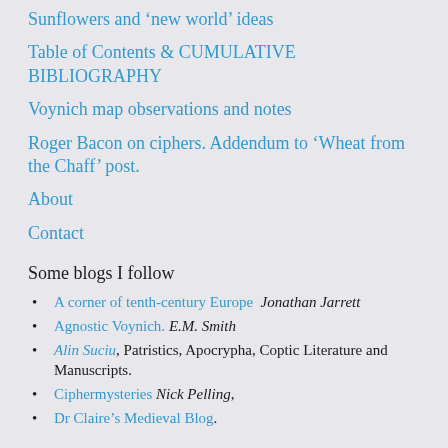Sunflowers and ‘new world’ ideas
Table of Contents & CUMULATIVE BIBLIOGRAPHY
Voynich map observations and notes
Roger Bacon on ciphers. Addendum to ‘Wheat from the Chaff’ post.
About
Contact
Some blogs I follow
A corner of tenth-century Europe  Jonathan Jarrett
Agnostic Voynich.  E.M. Smith
Alin Suciu, Patristics, Apocrypha, Coptic Literature and Manuscripts.
Ciphermysteries  Nick Pelling,
Dr Claire’s Medieval Blog.